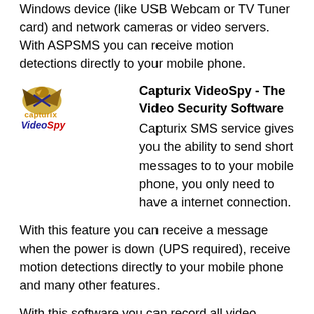Windows device (like USB Webcam or TV Tuner card) and network cameras or video servers. With ASPSMS you can receive motion detections directly to your mobile phone.
[Figure (logo): Capturix VideoSpy logo with bird/X graphic and orange/blue text]
Capturix VideoSpy - The Video Security Software
Capturix SMS service gives you the ability to send short messages to to your mobile phone, you only need to have a internet connection.
With this feature you can receive a message when the power is down (UPS required), receive motion detections directly to your mobile phone and many other features.
With this software you can record all video activity with a programmed schedule, insert data in picture, work as a motion detector, record sound, program alerts to be trigged by events (example: send a SMS when detects a movement) and controling lights, sensors or electronic devices by using a open source ActiveX controls allowing users to create their own devices.